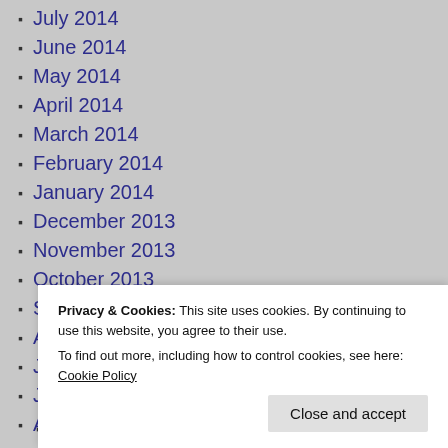July 2014
June 2014
May 2014
April 2014
March 2014
February 2014
January 2014
December 2013
November 2013
October 2013
September 2013
August 2013
July 2013
June 2013
April 2013
Cardio Health
Privacy & Cookies: This site uses cookies. By continuing to use this website, you agree to their use. To find out more, including how to control cookies, see here: Cookie Policy